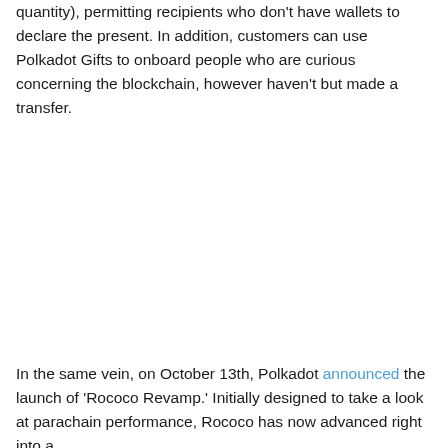quantity), permitting recipients who don't have wallets to declare the present. In addition, customers can use Polkadot Gifts to onboard people who are curious concerning the blockchain, however haven't but made a transfer.
In the same vein, on October 13th, Polkadot announced the launch of 'Rococo Revamp.' Initially designed to take a look at parachain performance, Rococo has now advanced right into a